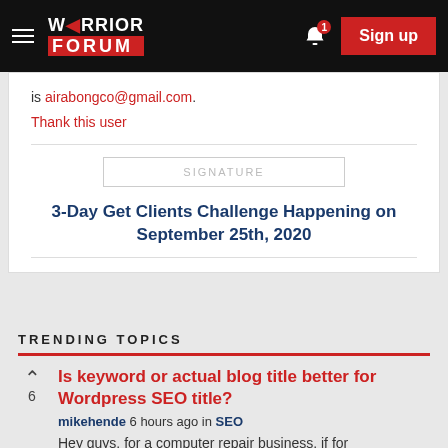Warrior Forum — Sign up
is airabongco@gmail.com.
Thank this user
SIGNATURE
3-Day Get Clients Challenge Happening on September 25th, 2020
TRENDING TOPICS
Is keyword or actual blog title better for Wordpress SEO title?
mikehende 6 hours ago in SEO
Hey guys, for a computer repair business, if for